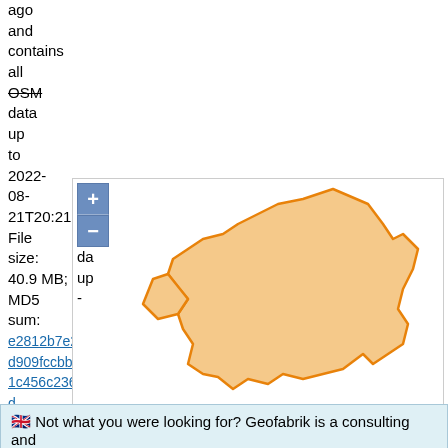ago
and
contains
all
OSM
data
up
to
2022-
08-
21T20:21:01Z.
File
size:
40.9 MB;
MD5
sum:
e2812b7e20d909fccbbaf1c456c236d.
https://download.geofabrik.de/europe/hamburg-latest-free.shp.zip.
yields
a
[Figure (map): Interactive map showing Hamburg region outlined in orange on a light peach/orange fill, with zoom +/- controls in the upper-left corner.]
🇬🇧 Not what you were looking for? Geofabrik is a consulting and